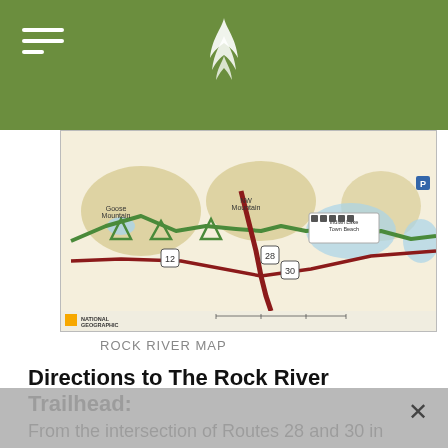[Figure (map): National Geographic topographic trail map showing Rock River area with green trail route, mountains labeled Goose Mountain and another mountain, Indian Lake Town Beach, route markers 28 and 30, and lake features. Map includes National Geographic logo and scale bar at bottom.]
ROCK RIVER MAP
Directions to The Rock River Trailhead:
From the intersection of Routes 28 and 30 in
AdirondackExperience.com